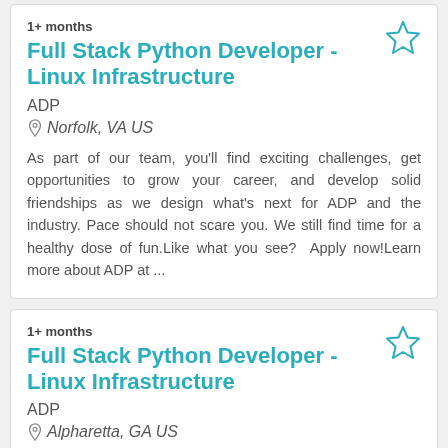1+ months
Full Stack Python Developer - Linux Infrastructure
ADP
Norfolk, VA US
As part of our team, you'll find exciting challenges, get opportunities to grow your career, and develop solid friendships as we design what's next for ADP and the industry. Pace should not scare you. We still find time for a healthy dose of fun.Like what you see?  Apply now!Learn more about ADP at ...
1+ months
Full Stack Python Developer - Linux Infrastructure
ADP
Alpharetta, GA US
As part of our team, you'll find exciting challenges, get opportunities to grow your career, and develop solid friendships as we design what's next for ADP and the